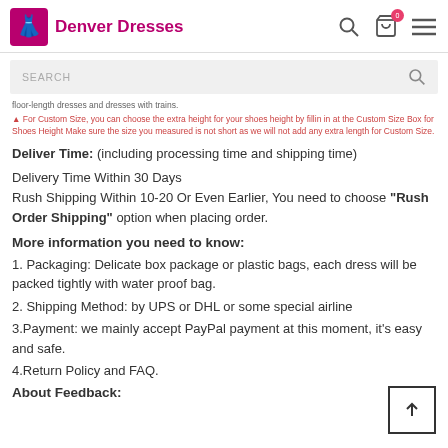Denver Dresses
SEARCH
floor-length dresses and dresses with trains.
▲ For Custom Size, you can choose the extra height for your shoes height by filling in at the Custom Size Box for Shoes Height Make sure the size you measured is not short as we will not add any extra length for Custom Size.
Deliver Time: (including processing time and shipping time)
Delivery Time Within 30 Days
Rush Shipping Within 10-20 Or Even Earlier, You need to choose "Rush Order Shipping" option when placing order.
More information you need to know:
1. Packaging: Delicate box package or plastic bags, each dress will be packed tightly with water proof bag.
2. Shipping Method: by UPS or DHL or some special airline
3.Payment: we mainly accept PayPal payment at this moment, it's easy and safe.
4.Return Policy and FAQ.
About Feedback: